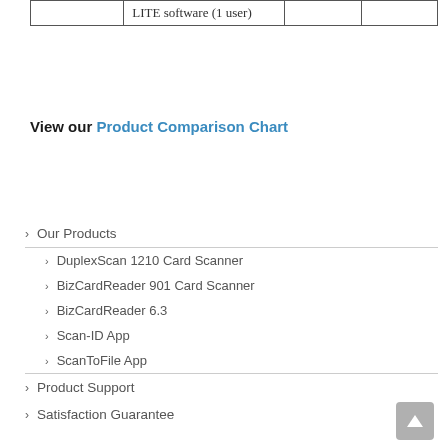|  |  |  |  |
| --- | --- | --- | --- |
|  | LITE software (1 user) |  |  |
View our Product Comparison Chart
› Our Products
› DuplexScan 1210 Card Scanner
› BizCardReader 901 Card Scanner
› BizCardReader 6.3
› Scan-ID App
› ScanToFile App
› Product Support
› Satisfaction Guarantee